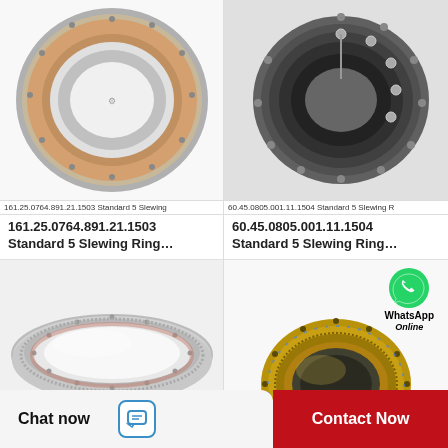[Figure (photo): Slewing ring bearing with internal gear teeth, product 161.25.0764.891.21.1503, Standard 5 Slewing Ring]
161.25.0764.891.21.1503 Standard 5 Slewing
[Figure (photo): Slewing ring bearing with external roller elements, product 60.45.0805.001.11.1504, Standard 5 Slewing Ring]
60.45.0805.001.11.1504 Standard 5 Slewing R
161.25.0764.891.21.1503 Standard 5 Slewing Ring…
60.45.0805.001.11.1504 Standard 5 Slewing Ring…
[Figure (photo): Large flat slewing ring bearing with internal teeth, silver/metallic finish]
[Figure (photo): Gold/bronze colored slewing ring bearing with internal gear, WhatsApp Online badge overlay]
WhatsApp Online
Chat now
Contact Now